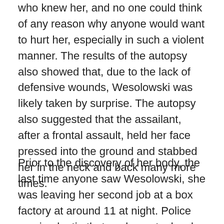who knew her, and no one could think of any reason why anyone would want to hurt her, especially in such a violent manner. The results of the autopsy also showed that, due to the lack of defensive wounds, Wesolowski was likely taken by surprise. The autopsy also suggested that the assailant, after a frontal assault, held her face pressed into the ground and stabbed her in the neck and back many more times.
Prior to the discovery of her body, the last time anyone saw Wesolowski, she was leaving her second job at a box factory at around 11 at night. Police received a tip that workers at a local Department of Public Works, near the box factory, had seen a man who arrived covered in blood. He asked to use a bathroom to clean up and then left...